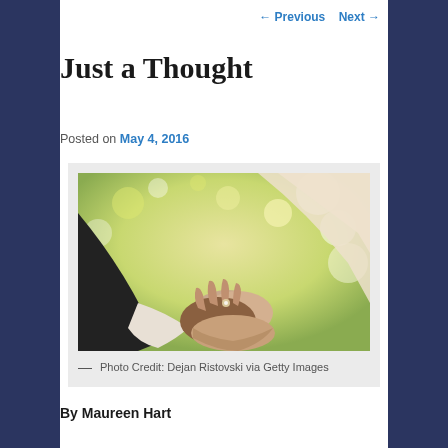← Previous   Next →
Just a Thought
Posted on May 4, 2016
[Figure (photo): A groom in a black suit holding hands with a bride in a white dress, close-up of hands with engagement ring, bokeh background of green and yellow leaves]
— Photo Credit: Dejan Ristovski via Getty Images
By Maureen Hart